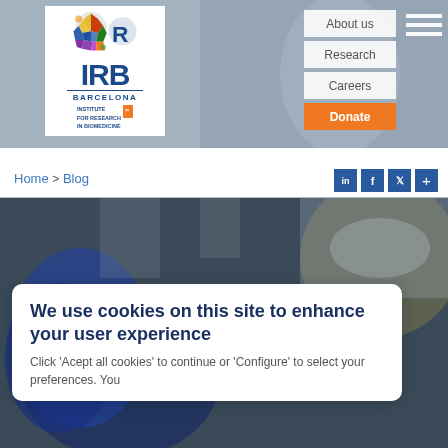[Figure (screenshot): IRB Barcelona website header with logo, navigation buttons (About us, Research, Careers, Donate), and hamburger menu on a blurred lab background]
Home > Blog
[Figure (screenshot): Social media icons: LinkedIn, Facebook, Twitter, and a plus icon]
[Figure (photo): Blurred photo of a lab or office environment with IRB Barcelona logo visible in background]
We use cookies on this site to enhance your user experience
Click 'Acept all cookies' to continue or 'Configure' to select your preferences. You